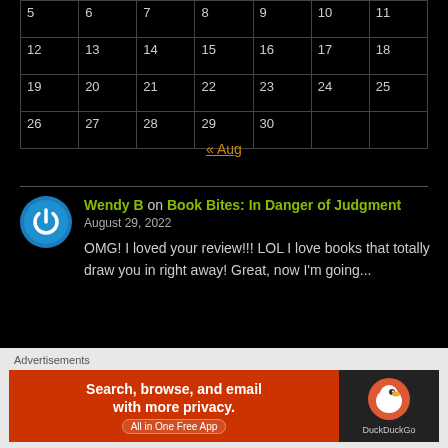| 5 | 6 | 7 | 8 | 9 | 10 | 11 |
| 12 | 13 | 14 | 15 | 16 | 17 | 18 |
| 19 | 20 | 21 | 22 | 23 | 24 | 25 |
| 26 | 27 | 28 | 29 | 30 |  |  |
« Aug
Wendy B on Book Bites: In Danger of Judgment
August 29, 2022
OMG! I loved your review!!! LOL I love books that totally draw you in right away! Great, now I'm going...
Advertisements
Search, browse, and email with more privacy. All in One Free App — DuckDuckGo